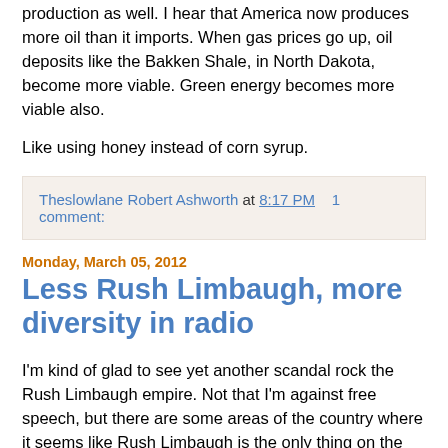production as well. I hear that America now produces more oil than it imports. When gas prices go up, oil deposits like the Bakken Shale, in North Dakota, become more viable. Green energy becomes more viable also.
Like using honey instead of corn syrup.
Theslowlane Robert Ashworth at 8:17 PM    1 comment:
Monday, March 05, 2012
Less Rush Limbaugh, more diversity in radio
I'm kind of glad to see yet another scandal rock the Rush Limbaugh empire. Not that I'm against free speech, but there are some areas of the country where it seems like Rush Limbaugh is the only thing on the radio. Thank goodness for the Iphone which